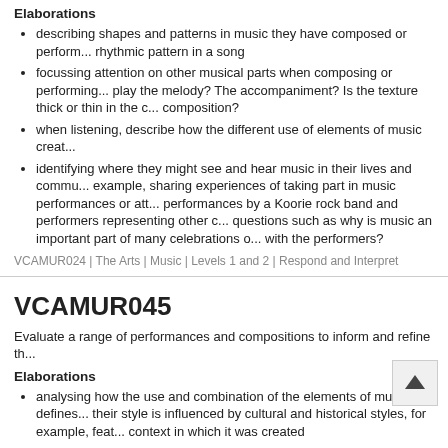Elaborations
describing shapes and patterns in music they have composed or performed, for example, identifying a rhythmic pattern in a song
focussing attention on other musical parts when composing or performing, for example, who will play the melody? The accompaniment? Is the texture thick or thin in the composition?
when listening, describe how the different use of elements of music create different effects
identifying where they might see and hear music in their lives and communities, for example, sharing experiences of taking part in music performances or attending performances by a Koorie rock band and performers representing other cultures, and exploring questions such as why is music an important part of many celebrations or what did you enjoy with the performers?
VCAMUR024 | The Arts | Music | Levels 1 and 2 | Respond and Interpret
VCAMUR045
Evaluate a range of performances and compositions to inform and refine the...
Elaborations
analysing how the use and combination of the elements of music defines a style and how their style is influenced by cultural and historical styles, for example, featuring the cultural context in which it was created
listening to, analysing and comparing the performance practices of performers of a piece of music, for example 'what historical influences are evident in the...
comparing music from different styles to identify and describe stylistic...